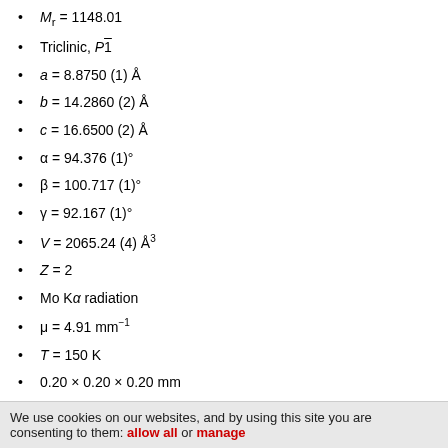Mr = 1148.01
Triclinic, P1̄
a = 8.8750 (1) Å
b = 14.2860 (2) Å
c = 16.6500 (2) Å
α = 94.376 (1)°
β = 100.717 (1)°
γ = 92.167 (1)°
V = 2065.24 (4) Å³
Z = 2
Mo Kα radiation
μ = 4.91 mm⁻¹
T = 150 K
0.20 × 0.20 × 0.20 mm
We use cookies on our websites, and by using this site you are consenting to them: allow all or manage